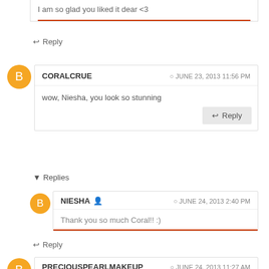I am so glad you liked it dear <3
↩ Reply
CORALCRUE  ⊙ JUNE 23, 2013 11:56 PM
wow, Niesha, you look so stunning
↩ Reply
▾ Replies
NIESHA 👤  ⊙ JUNE 24, 2013 2:40 PM
Thank you so much Coral!! :)
↩ Reply
PRECIOUSPEARLMAKEUP  ⊙ JUNE 24, 2013 11:27 AM